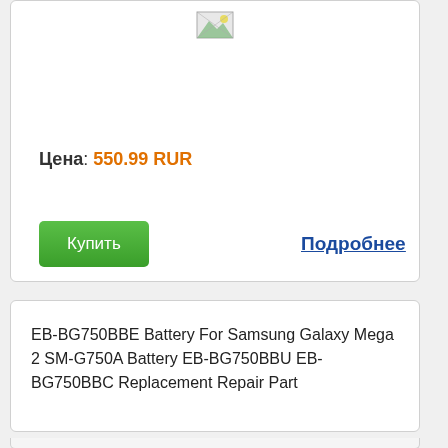[Figure (photo): Product image placeholder (broken image icon) at top of card]
Цена: 550.99 RUR
Купить
Подробнее
EB-BG750BBE Battery For Samsung Galaxy Mega 2 SM-G750A Battery EB-BG750BBU EB-BG750BBC Replacement Repair Part